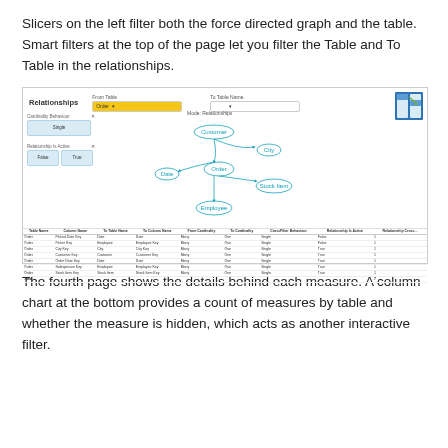Slicers on the left filter both the force directed graph and the table. Smart filters at the top of the page let you filter the Table and To Table in the relationships.
[Figure (screenshot): Screenshot of a Power BI 'Relationships' dashboard page showing a force-directed graph with nodes: Customer, City, Order, Date, Stock Item, Employee. Left panel has slicers for 'Cardinality Behaviour' and 'Relationship Is Active'. Top has From Table and To Table dropdowns. A data table at the bottom lists relationship columns for Order table. An icon of a grid/table with an arrow is in the top right.]
The fourth page shows the details behind each measure. A column chart at the bottom provides a count of measures by table and whether the measure is hidden, which acts as another interactive filter.